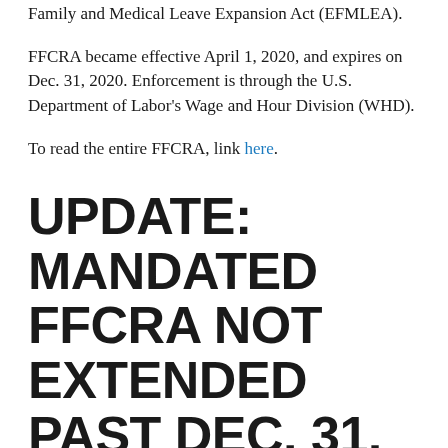Family and Medical Leave Expansion Act (EFMLEA).
FFCRA became effective April 1, 2020, and expires on Dec. 31, 2020. Enforcement is through the U.S. Department of Labor's Wage and Hour Division (WHD).
To read the entire FFCRA, link here.
UPDATE: MANDATED FFCRA NOT EXTENDED PAST DEC. 31, 2020